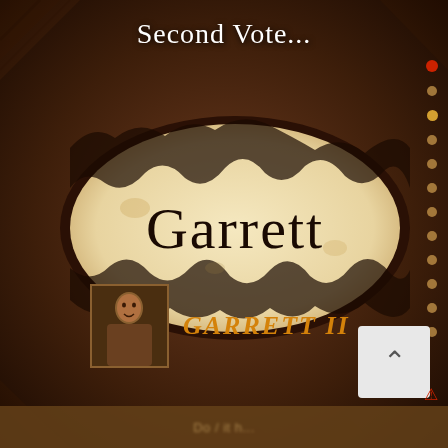Second Vote...
[Figure (screenshot): A parchment/scroll prop with the name 'Garrett' written on it in large handwritten-style black text, shown being held by hands against a dark tribal-themed background. This appears to be a screenshot from the TV show Survivor showing a voting parchment.]
GARRETT II
Do / it h...